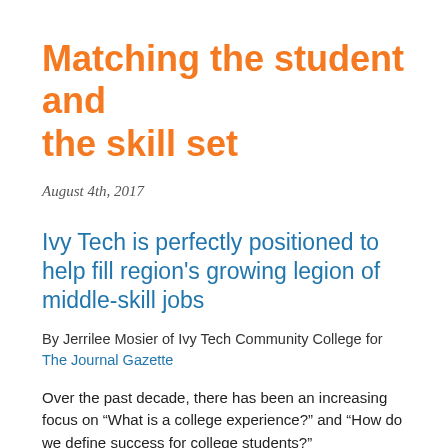Matching the student and the skill set
August 4th, 2017
Ivy Tech is perfectly positioned to help fill region's growing legion of middle-skill jobs
By Jerrilee Mosier of Ivy Tech Community College for The Journal Gazette
Over the past decade, there has been an increasing focus on “What is a college experience?” and “How do we define success for college students?”